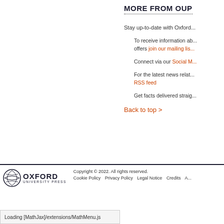MORE FROM OUP
Stay up-to-date with Oxford...
To receive information about new titles and special offers join our mailing list
Connect via our Social Media
For the latest news related... RSS feed
Get facts delivered straight...
Back to top >
Copyright © 2022. All rights reserved. Cookie Policy  Privacy Policy  Legal Notice  Credits  A
Loading [MathJax]/extensions/MathMenu.js